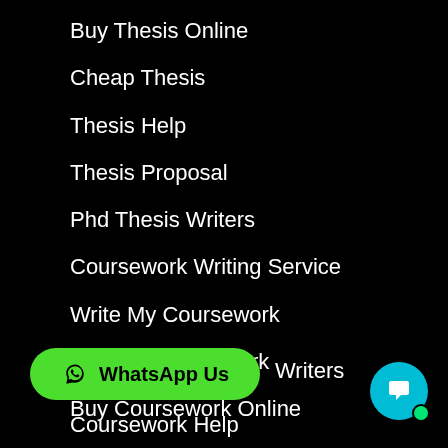Buy Thesis Online
Cheap Thesis
Thesis Help
Thesis Proposal
Phd Thesis Writers
Coursework Writing Service
Write My Coursework
Custom Coursework
Buy Coursework Online
Cheap Coursework
Writers
Coursework Help